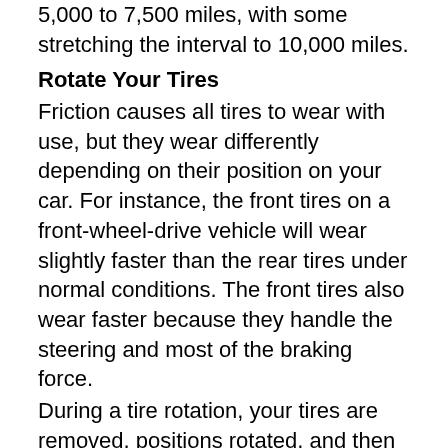5,000 to 7,500 miles, with some stretching the interval to 10,000 miles.
Rotate Your Tires
Friction causes all tires to wear with use, but they wear differently depending on their position on your car. For instance, the front tires on a front-wheel-drive vehicle will wear slightly faster than the rear tires under normal conditions. The front tires also wear faster because they handle the steering and most of the braking force.
During a tire rotation, your tires are removed, positions rotated, and then remounted. Regular tire rotation helps to ensure even wear of all four tires and is usually recommended every 7,500 miles or at the same interval as your oil and oil filter.
Balance and Align Your Wheels.
Typically, most manufacturers recommend that your wheels are balanced and your vehicle aligned every 5,000 to 7,500 miles. Balancing your wheels ensures that the tire and wheel weight is distributed evenly around the axle...